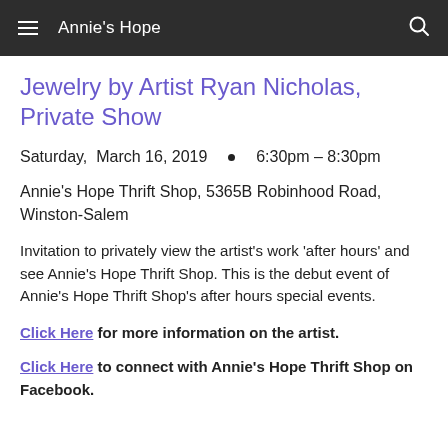Annie's Hope
Jewelry by Artist Ryan Nicholas, Private Show
Saturday,  March 16, 2019   •   6:30pm – 8:30pm
Annie's Hope Thrift Shop, 5365B Robinhood Road, Winston-Salem
Invitation to privately view the artist's work 'after hours' and see Annie's Hope Thrift Shop. This is the debut event of Annie's Hope Thrift Shop's after hours special events.
Click Here for more information on the artist.
Click Here to connect with Annie's Hope Thrift Shop on Facebook.